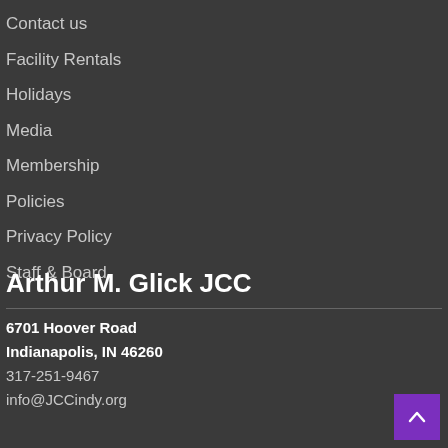Contact us
Facility Rentals
Holidays
Media
Membership
Policies
Privacy Policy
Staff & Board
Arthur M. Glick JCC
6701 Hoover Road
Indianapolis, IN 46260
317-251-9467
info@JCCindy.org